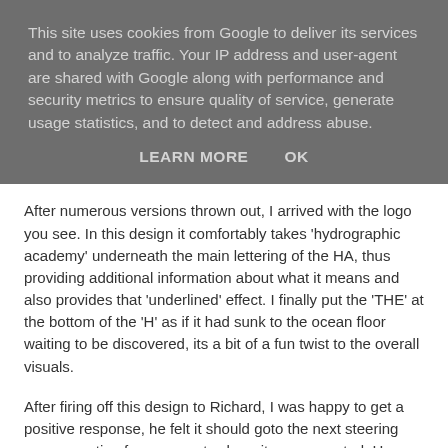This site uses cookies from Google to deliver its services and to analyze traffic. Your IP address and user-agent are shared with Google along with performance and security metrics to ensure quality of service, generate usage statistics, and to detect and address abuse.
LEARN MORE    OK
After numerous versions thrown out, I arrived with the logo you see. In this design it comfortably takes 'hydrographic academy' underneath the main lettering of the HA, thus providing additional information about what it means and also provides that 'underlined' effect. I finally put the 'THE' at the bottom of the 'H' as if it had sunk to the ocean floor waiting to be discovered, its a bit of a fun twist to the overall visuals.
After firing off this design to Richard, I was happy to get a positive response, he felt it should goto the next steering group meeting for comment, where it was accepted. Hence this post you are reading now.